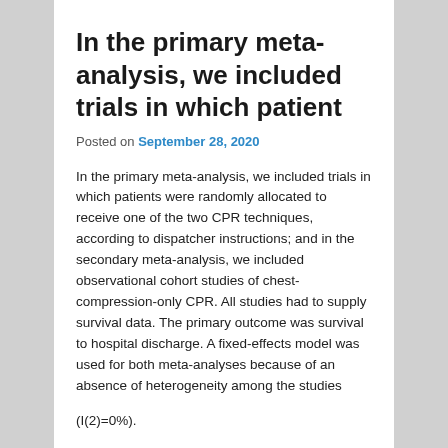In the primary meta-analysis, we included trials in which patient
Posted on September 28, 2020
In the primary meta-analysis, we included trials in which patients were randomly allocated to receive one of the two CPR techniques, according to dispatcher instructions; and in the secondary meta-analysis, we included observational cohort studies of chest-compression-only CPR. All studies had to supply survival data. The primary outcome was survival to hospital discharge. A fixed-effects model was used for both meta-analyses because of an absence of heterogeneity among the studies
(I(2)=0%).
Findings In the primary meta-analysis, pooled data from